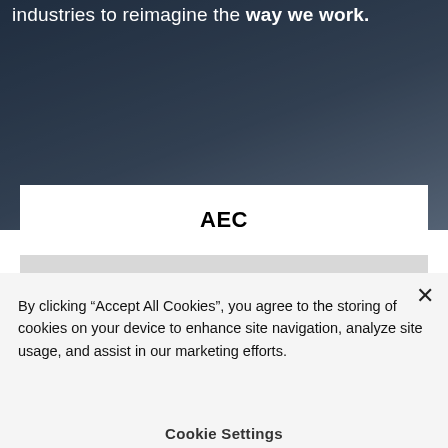industries to reimagine the way we work.
[Figure (photo): Dark blurred background photo of office/industrial setting with dark navy and grey tones]
AEC
Retail & Manufacturing
By clicking “Accept All Cookies”, you agree to the storing of cookies on your device to enhance site navigation, analyze site usage, and assist in our marketing efforts.
Cookie Settings